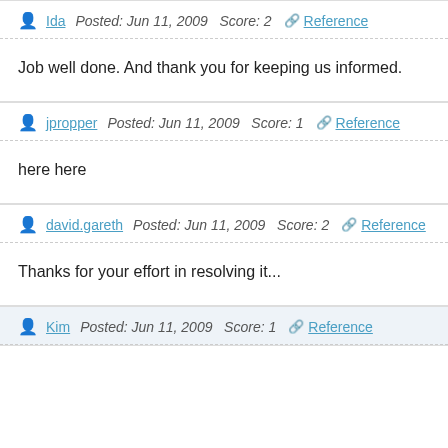Ida  Posted: Jun 11, 2009  Score: 2  Reference
Job well done. And thank you for keeping us informed.
jpropper  Posted: Jun 11, 2009  Score: 1  Reference
here here
david.gareth  Posted: Jun 11, 2009  Score: 2  Reference
Thanks for your effort in resolving it...
Kim  Posted: Jun 11, 2009  Score: 1  Reference